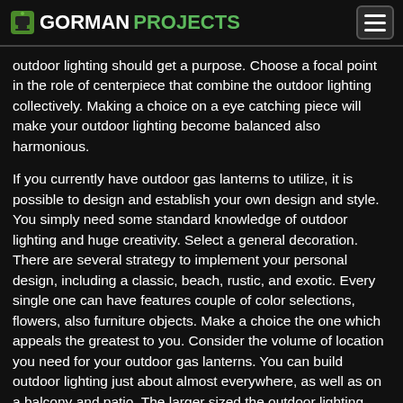GORMAN PROJECTS
outdoor lighting should get a purpose. Choose a focal point in the role of centerpiece that combine the outdoor lighting collectively. Making a choice on a eye catching piece will make your outdoor lighting become balanced also harmonious.
If you currently have outdoor gas lanterns to utilize, it is possible to design and establish your own design and style. You simply need some standard knowledge of outdoor lighting and huge creativity. Select a general decoration. There are several strategy to implement your personal design, including a classic, beach, rustic, and exotic. Every single one can have features couple of color selections, flowers, also furniture objects. Make a choice the one which appeals the greatest to you. Consider the volume of location you need for your outdoor gas lanterns. You can build outdoor lighting just about almost everywhere, as well as on a balcony and patio. The larger sized the outdoor lighting, the more options you can find. In case you need not come with a large spot, anyway, you might not get the chance to grow some of the bigger plants and flowers.